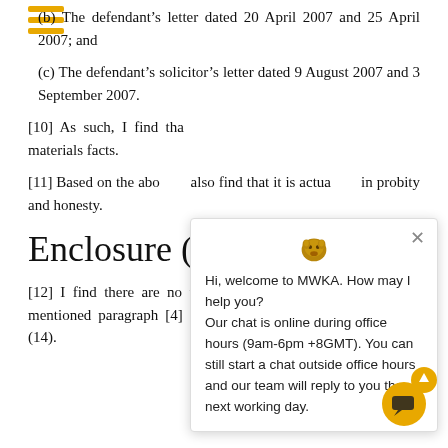(b) The defendant's letter dated 20 April 2007 and 25 April 2007; and
(c) The defendant's solicitor's letter dated 9 August 2007 and 3 September 2007.
[10] As such, I find tha[t the defendant had disclosed all the] materials facts.
[11] Based on the abo[ve,] also find that it is actua[lly...] in probity and honesty.
Enclosure (2...)
[12] I find there are no triable issues and I rep[eat the] afore mentioned paragraph [4] of my groun[ds in] enclosure (5) and (14).